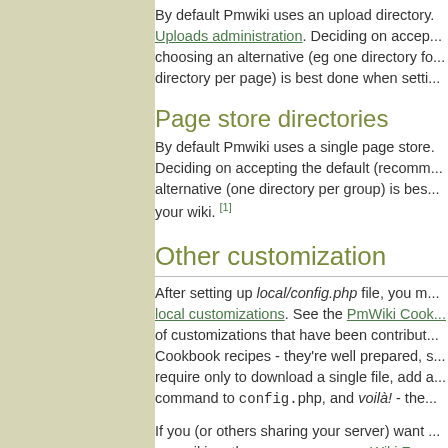By default Pmwiki uses an upload directory. Uploads administration. Deciding on accepting the default or choosing an alternative (eg one directory for all uploads, or one directory per page) is best done when setti...
Page store directories
By default Pmwiki uses a single page store. Deciding on accepting the default (recommended) or an alternative (one directory per group) is best done when setting up your wiki. [1]
Other customization
After setting up local/config.php file, you m... local customizations. See the PmWiki Cookbook of customizations that have been contributed. Cookbook recipes - they're well prepared, some require only to download a single file, add a command to config.php, and voilà! - the...
If you (or others sharing your server) want more than one wiki on the same server, see Wiki Farm...
Now what?